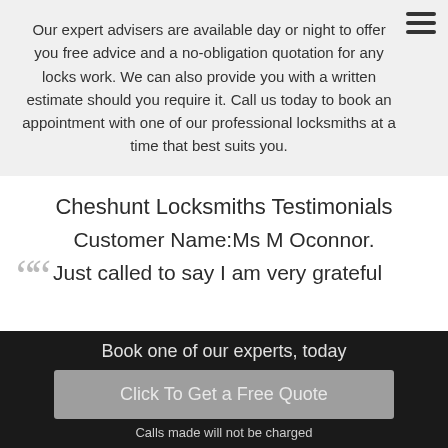Our expert advisers are available day or night to offer you free advice and a no-obligation quotation for any locks work. We can also provide you with a written estimate should you require it. Call us today to book an appointment with one of our professional locksmiths at a time that best suits you.
Cheshunt Locksmiths Testimonials
Customer Name:Ms M Oconnor.
Just called to say I am very grateful
Book one of our experts, today
Click To Get a Free Quote
Calls made will not be charged